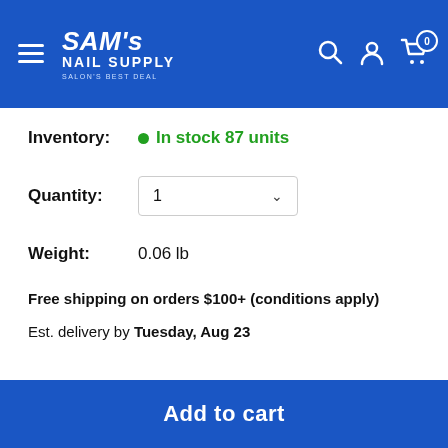SAM's NAIL SUPPLY — SALON'S BEST DEAL
Inventory: In stock 87 units
Quantity: 1
Weight: 0.06 lb
Free shipping on orders $100+ (conditions apply)
Est. delivery by Tuesday, Aug 23
Add to cart